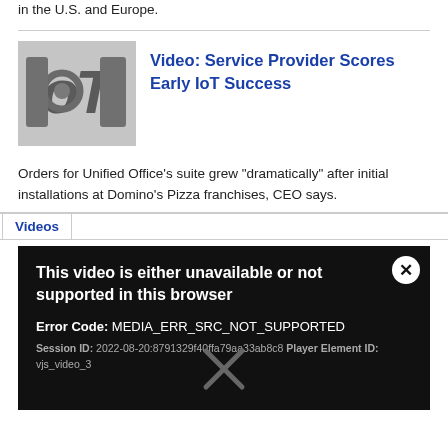in the U.S. and Europe.
[Figure (photo): IoT logo image made of metallic/mechanical letters spelling IoT]
Video: Service Provider Scores Early IoT Success
Orders for Unified Office's suite grew "dramatically" after initial installations at Domino's Pizza franchises, CEO says.
Videos
[Figure (screenshot): Video player error message on black background: 'This video is either unavailable or not supported in this browser'. Error Code: MEDIA_ERR_SRC_NOT_SUPPORTED. Session ID: 2022-08-20:8791329f40ffa79aa33ab8c8 Player Element ID: vjs_video_3. Close button (X) in top right. Large X icon at bottom center.]